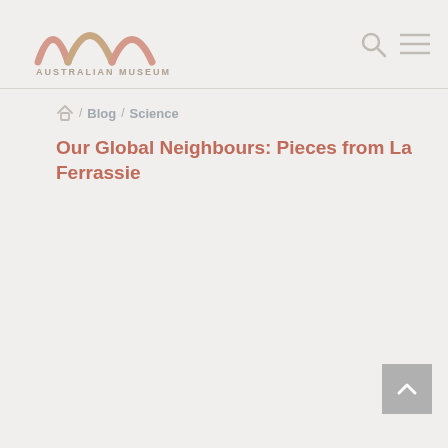[Figure (logo): Australian Museum logo — stylized mountain/arch shapes in pink and tan above text 'AUSTRALIAN MUSEUM']
[Figure (other): Search icon (magnifying glass) and hamburger menu icon in grey]
Blog / Science
Our Global Neighbours: Pieces from La Ferrassie